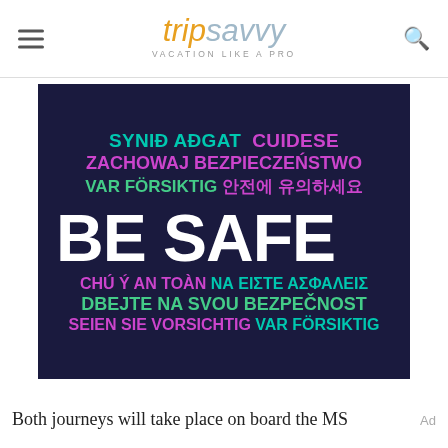tripsavvy VACATION LIKE A PRO
[Figure (infographic): Dark navy background infographic with 'BE SAFE' in large white bold text, surrounded by 'be safe' translations in multiple languages and colors: SYNIÐ AÐGAT (teal), CUIDESE (purple), ZACHOWAJ BEZPIECZEŃSTWO (pink), VAR FÖRSIKTIG (green), 안전에 유의하세요 (pink), CHÚ Ý AN TOÀN (purple), ΝΑ ΕΙΣΤΕ ΑΣΦΑΛΕΙΣ (teal), DBEJTE NA SVOU BEZPEČNOST (green), SEIEN SIE VORSICHTIG (pink), VAR FÖRSIKTIG (teal)]
Both journeys will take place on board the MS